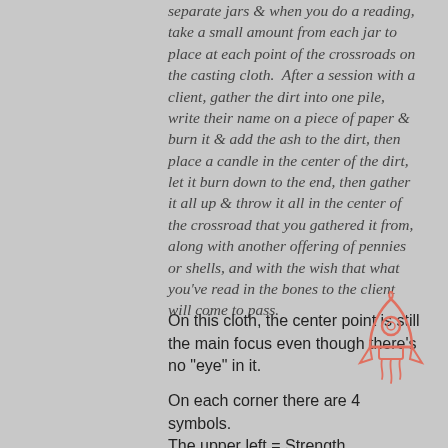separate jars & when you do a reading, take a small amount from each jar to place at each point of the crossroads on the casting cloth.  After a session with a client, gather the dirt into one pile, write their name on a piece of paper & burn it & add the ash to the dirt, then place a candle in the center of the dirt, let it burn down to the end, then gather it all up & throw it all in the center of the crossroad that you gathered it from, along with another offering of pennies or shells, and with the wish that what you've read in the bones to the client will come to pass.
On this cloth, the center point is still the main focus even though there's no "eye" in it.
On each corner there are 4 symbols. The upper left = Strength. Upper right (turtle) = adaptability.
[Figure (illustration): Pink/salmon outline illustration of a rocket ship in the lower right corner of the page]